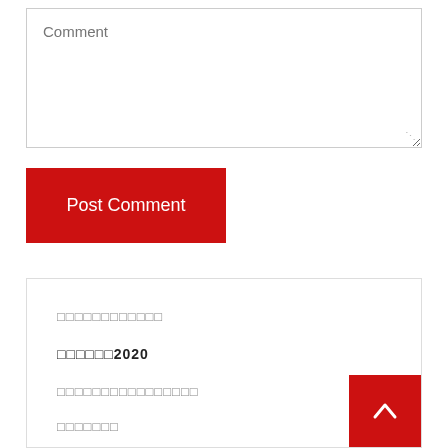Comment
Post Comment
□□□□□□□□□□□□
□□□□□□2020
□□□□□□□□□□□□□□□□
□□□□□□□